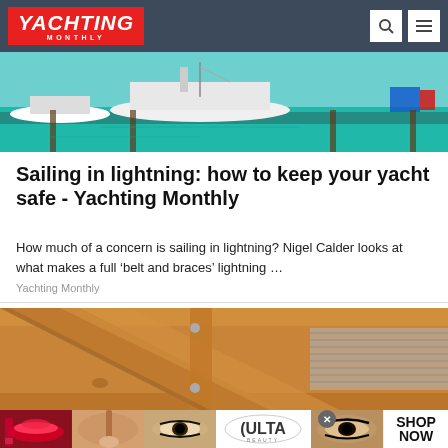YACHTING MONTHLY
[Figure (photo): Boats moored at a marina with turquoise water]
Sailing in lightning: how to keep your yacht safe - Yachting Monthly
How much of a concern is sailing in lightning? Nigel Calder looks at what makes a full ‘belt and braces’ lightning …
Yachting Monthly
[Figure (photo): Interior wood framing of a boat hull showing beams and metallic foil insulation]
[Figure (photo): Ulta Beauty advertisement showing makeup and beauty imagery with SHOP NOW call to action]